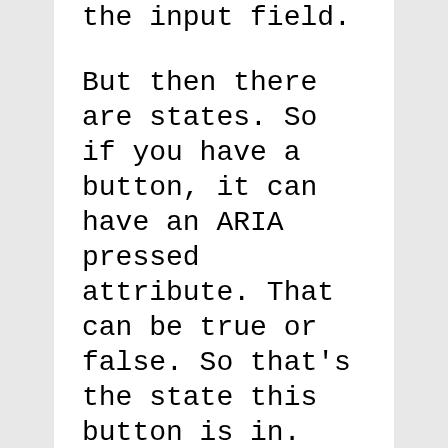the input field.
But then there are states. So if you have a button, it can have an ARIA pressed attribute. That can be true or false. So that's the state this button is in.
So you can have an ARIA pressed fails and then a user gets to it and it says this is a button not pressed then the user presses it meaning presses return or space and then your ARIA